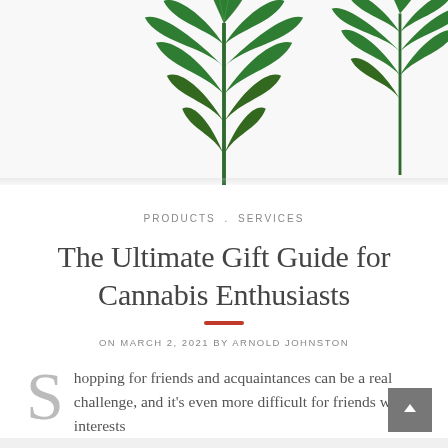[Figure (photo): Cannabis leaves on white background — one large leaf centered and one partial leaf on the right edge, photographed from above on white background.]
PRODUCTS . SERVICES
The Ultimate Gift Guide for Cannabis Enthusiasts
ON MARCH 2, 2021 BY ARNOLD JOHNSTON
Shopping for friends and acquaintances can be a real challenge, and it's even more difficult for friends with interests